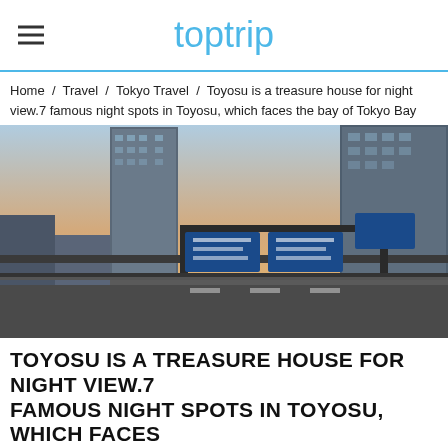toptrip
Home / Travel / Tokyo Travel / Toyosu is a treasure house for night view.7 famous night spots in Toyosu, which faces the bay of Tokyo Bay
[Figure (photo): Daytime/dusk photo of Tokyo skyline showing tall skyscrapers and highway overpass road signs in Toyosu area, with orange sky in background]
TOYOSU IS A TREASURE HOUSE FOR NIGHT VIEW.7 FAMOUS NIGHT SPOTS IN TOYOSU, WHICH FACES